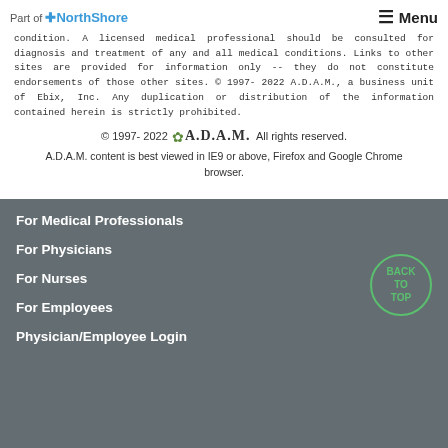Part of NorthShore | Menu
condition. A licensed medical professional should be consulted for diagnosis and treatment of any and all medical conditions. Links to other sites are provided for information only -- they do not constitute endorsements of those other sites. © 1997-2022 A.D.A.M., a business unit of Ebix, Inc. Any duplication or distribution of the information contained herein is strictly prohibited.
© 1997-2022 A.D.A.M. All rights reserved.
A.D.A.M. content is best viewed in IE9 or above, Firefox and Google Chrome browser.
For Medical Professionals
For Physicians
For Nurses
For Employees
Physician/Employee Login